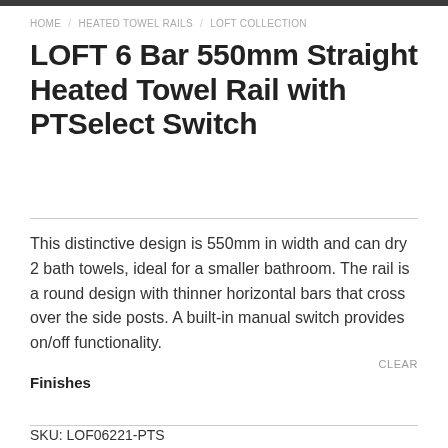HOME / HEATED TOWEL RAILS / LOFT COLLECTION
LOFT 6 Bar 550mm Straight Heated Towel Rail with PTSelect Switch
This distinctive design is 550mm in width and can dry 2 bath towels, ideal for a smaller bathroom. The rail is a round design with thinner horizontal bars that cross over the side posts. A built-in manual switch provides on/off functionality.
Finishes
CLEAR
SKU: LOF06221-PTS